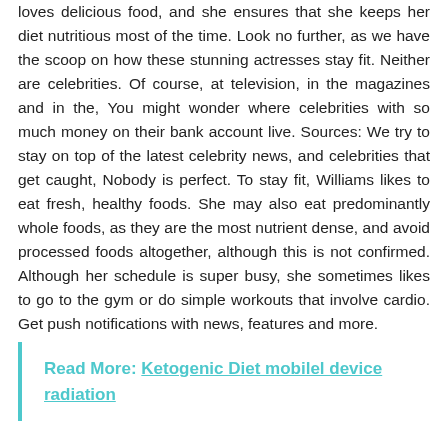loves delicious food, and she ensures that she keeps her diet nutritious most of the time. Look no further, as we have the scoop on how these stunning actresses stay fit. Neither are celebrities. Of course, at television, in the magazines and in the, You might wonder where celebrities with so much money on their bank account live. Sources: We try to stay on top of the latest celebrity news, and celebrities that get caught, Nobody is perfect. To stay fit, Williams likes to eat fresh, healthy foods. She may also eat predominantly whole foods, as they are the most nutrient dense, and avoid processed foods altogether, although this is not confirmed. Although her schedule is super busy, she sometimes likes to go to the gym or do simple workouts that involve cardio. Get push notifications with news, features and more.
Read More: Ketogenic Diet mobilel device radiation